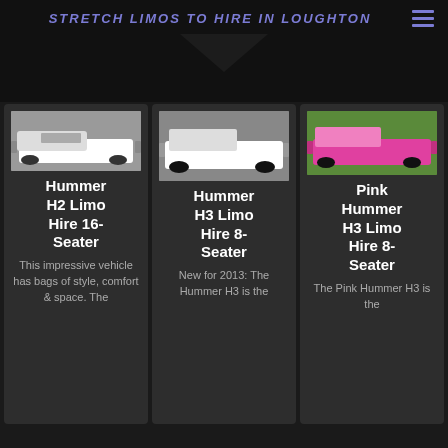STRETCH LIMOS TO HIRE IN LOUGHTON
[Figure (photo): White Hummer H2 stretch limousine parked on a street]
Hummer H2 Limo Hire 16-Seater
This impressive vehicle has bags of style, comfort & space. The
[Figure (photo): White Hummer H3 stretch limousine with black wheels on a road]
Hummer H3 Limo Hire 8-Seater
New for 2013: The Hummer H3 is the
[Figure (photo): Pink Hummer H3 stretch limousine parked outdoors]
Pink Hummer H3 Limo Hire 8-Seater
The Pink Hummer H3 is the